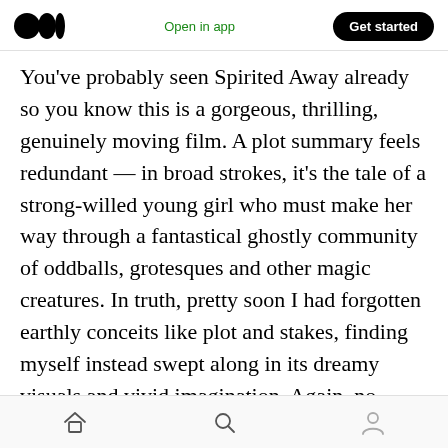Medium logo | Open in app | Get started
You've probably seen Spirited Away already so you know this is a gorgeous, thrilling, genuinely moving film. A plot summary feels redundant — in broad strokes, it's the tale of a strong-willed young girl who must make her way through a fantastical ghostly community of oddballs, grotesques and other magic creatures. In truth, pretty soon I had forgotten earthly conceits like plot and stakes, finding myself instead swept along in its dreamy visuals and vivid imagination. Again, no better time to watch something like this, and you can come to it from anywhere along
Home | Search | Profile